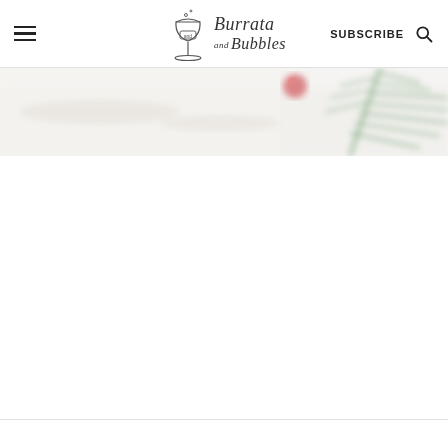Burrata and Bubbles — navigation header with hamburger menu, logo, SUBSCRIBE link, and search icon
[Figure (photo): Blurred holiday/Christmas-themed food photo showing a red ornament, green rosemary or pine sprigs on a white background]